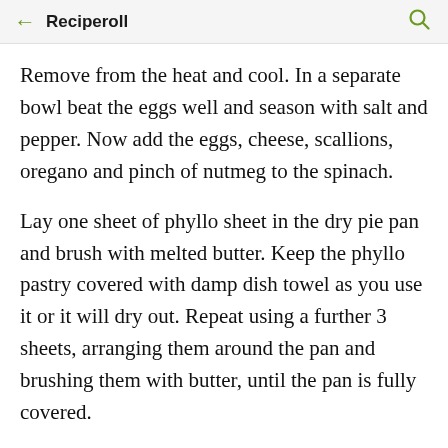← Reciperoll 🔍
Remove from the heat and cool. In a separate bowl beat the eggs well and season with salt and pepper. Now add the eggs, cheese, scallions, oregano and pinch of nutmeg to the spinach.
Lay one sheet of phyllo sheet in the dry pie pan and brush with melted butter. Keep the phyllo pastry covered with damp dish towel as you use it or it will dry out. Repeat using a further 3 sheets, arranging them around the pan and brushing them with butter, until the pan is fully covered.